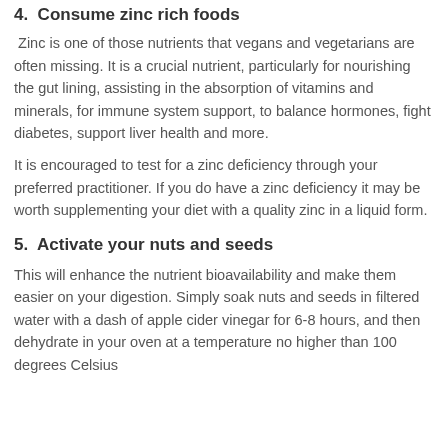4.  Consume zinc rich foods
Zinc is one of those nutrients that vegans and vegetarians are often missing. It is a crucial nutrient, particularly for nourishing the gut lining, assisting in the absorption of vitamins and minerals, for immune system support, to balance hormones, fight diabetes, support liver health and more.
It is encouraged to test for a zinc deficiency through your preferred practitioner. If you do have a zinc deficiency it may be worth supplementing your diet with a quality zinc in a liquid form.
5.  Activate your nuts and seeds
This will enhance the nutrient bioavailability and make them easier on your digestion. Simply soak nuts and seeds in filtered water with a dash of apple cider vinegar for 6-8 hours, and then dehydrate in your oven at a temperature no higher than 100 degrees Celsius